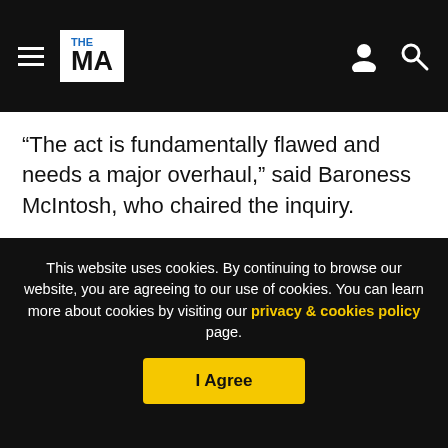THE MA (logo) navigation bar with hamburger menu, user icon, and search icon
“The act is fundamentally flawed and needs a major overhaul,” said Baroness McIntosh, who chaired the inquiry.
[Figure (photo): Advertisement banner for The Licensed Trade Charity App showing a smiling man in a red apron with arms crossed on a red background with white bold text reading 'The Licensed Trade Charity App.']
This website uses cookies. By continuing to browse our website, you are agreeing to our use of cookies. You can learn more about cookies by visiting our privacy & cookies policy page.
I Agree